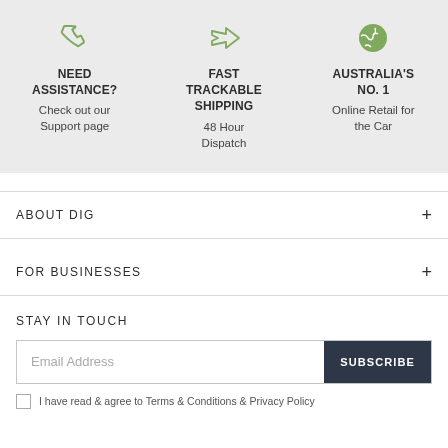[Figure (infographic): Three feature columns with icons: phone icon for Need Assistance, airplane icon for Fast Trackable Shipping, globe icon for Australia's No. 1]
NEED ASSISTANCE?
Check out our Support page
FAST TRACKABLE SHIPPING
48 Hour Dispatch
AUSTRALIA'S NO. 1
Online Retail for the Car
ABOUT DIG
FOR BUSINESSES
STAY IN TOUCH
Email Address
SUBSCRIBE
I have read & agree to Terms & Conditions & Privacy Policy